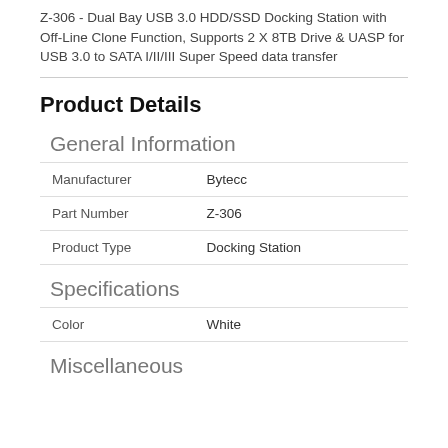Z-306 - Dual Bay USB 3.0 HDD/SSD Docking Station with Off-Line Clone Function, Supports 2 X 8TB Drive & UASP for USB 3.0 to SATA I/II/III Super Speed data transfer
Product Details
General Information
|  |  |
| --- | --- |
| Manufacturer | Bytecc |
| Part Number | Z-306 |
| Product Type | Docking Station |
Specifications
|  |  |
| --- | --- |
| Color | White |
Miscellaneous